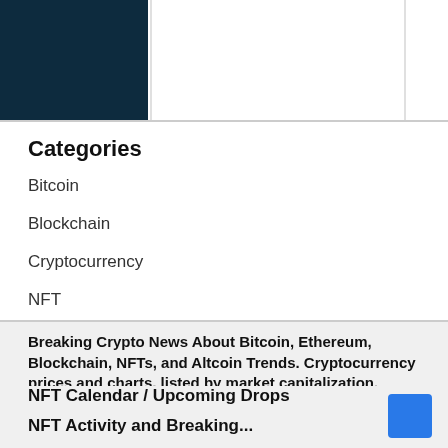Categories
Bitcoin
Blockchain
Cryptocurrency
NFT
Breaking Crypto News About Bitcoin, Ethereum, Blockchain, NFTs, and Altcoin Trends. Cryptocurrency prices and charts, listed by market capitalization.
NFT Calendar / Upcoming Drops
NFT Activity and Breaking...